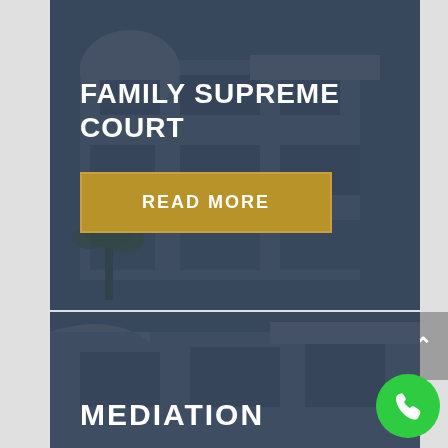FAMILY SUPREME COURT
READ MORE
[Figure (photo): Dark blue-gray overlay on modern multi-story building with large windows and curved architectural elements, used as background for Family Supreme Court card]
MEDIATION
[Figure (photo): Dark blue-gray overlay on modern building, used as background for Mediation card]